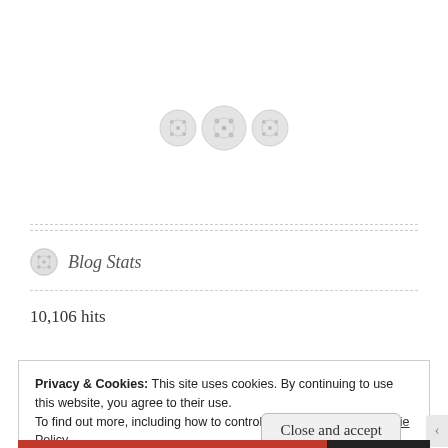[Figure (illustration): Three decorative button icons arranged horizontally on a dashed horizontal divider line]
Blog Stats
10,106 hits
Privacy & Cookies: This site uses cookies. By continuing to use this website, you agree to their use.
To find out more, including how to control cookies, see here: Cookie Policy
Close and accept